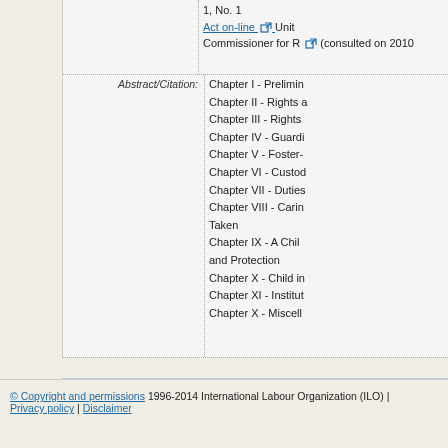1, No. 1
Act on-line [external link] Unit Commissioner for R [external link] (consulted on 2010
Abstract/Citation: Chapter I - Prelimin Chapter II - Rights a Chapter III - Rights Chapter IV - Guardi Chapter V - Foster- Chapter VI - Custod Chapter VII - Duties Chapter VIII - Carin Taken Chapter IX - A Chil and Protection Chapter X - Child in Chapter XI - Institut Chapter X - Miscell
© Copyright and permissions 1996-2014 International Labour Organization (ILO) | Privacy policy | Disclaimer